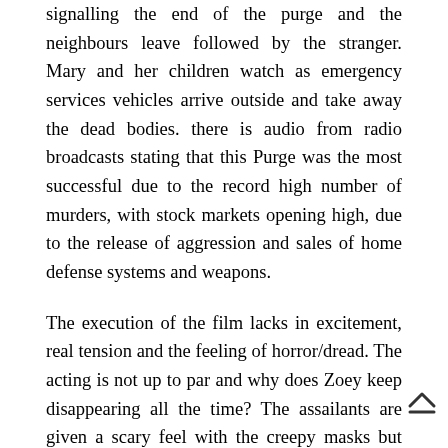signalling the end of the purge and the neighbours leave followed by the stranger. Mary and her children watch as emergency services vehicles arrive outside and take away the dead bodies. there is audio from radio broadcasts stating that this Purge was the most successful due to the record high number of murders, with stock markets opening high, due to the release of aggression and sales of home defense systems and weapons.
The execution of the film lacks in excitement, real tension and the feeling of horror/dread. The acting is not up to par and why does Zoey keep disappearing all the time? The assailants are given a scary feel with the creepy masks but there's too little attention on the to make it more effective, while their leader is only affective in you